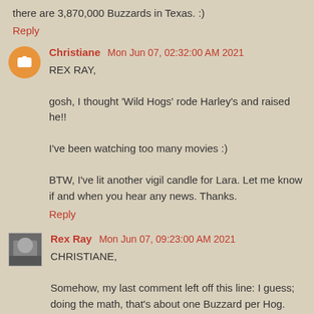there are 3,870,000 Buzzards in Texas. :)
Reply
Christiane  Mon Jun 07, 02:32:00 AM 2021
REX RAY,

gosh, I thought 'Wild Hogs' rode Harley's and raised he!!

I've been watching too many movies :)

BTW, I've lit another vigil candle for Lara. Let me know if and when you hear any news. Thanks.
Reply
Rex Ray  Mon Jun 07, 09:23:00 AM 2021
CHRISTIANE,

Somehow, my last comment left off this line: I guess; doing the math, that's about one Buzzard per Hog.